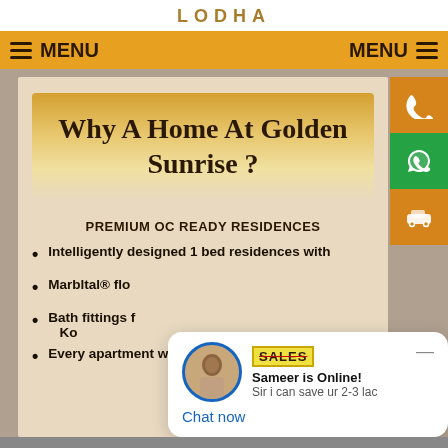LODHA
MENU   MENU
Why A Home At Golden Sunrise ?
PREMIUM OC READY RESIDENCES
Intelligently designed 1 bed residences with
Marbltal® flo
Bath fittings f... Ko
Every apartment with garden or tree-lined
[Figure (screenshot): Chat popup overlay showing a sales agent named Sameer with avatar, SALES badge, online status, and 'Chat now' link. Text reads: 'Sameer is Online! Sir i can save ur 2-3 lac' with 'Chat now' button.]